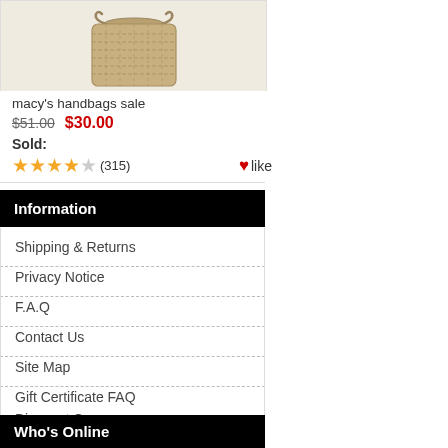[Figure (photo): Woven/straw handbag product image]
macy's handbags sale
$51.00  $30.00
Sold:
★★★★☆ (315)  ♥like
Information
Shipping & Returns
Privacy Notice
F.A.Q
Contact Us
Site Map
Gift Certificate FAQ
Discount Coupons
Newsletter Unsubscribe
Who's Online